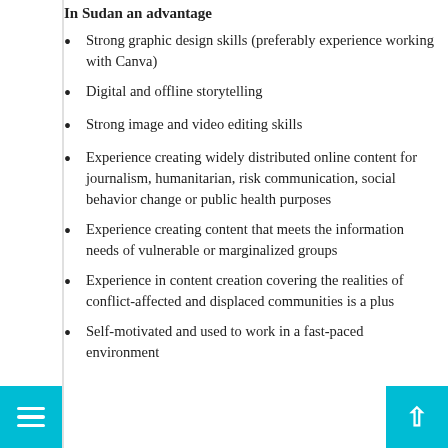In Sudan an advantage
Strong graphic design skills (preferably experience working with Canva)
Digital and offline storytelling
Strong image and video editing skills
Experience creating widely distributed online content for journalism, humanitarian, risk communication, social behavior change or public health purposes
Experience creating content that meets the information needs of vulnerable or marginalized groups
Experience in content creation covering the realities of conflict-affected and displaced communities is a plus
Self-motivated and used to work in a fast-paced environment